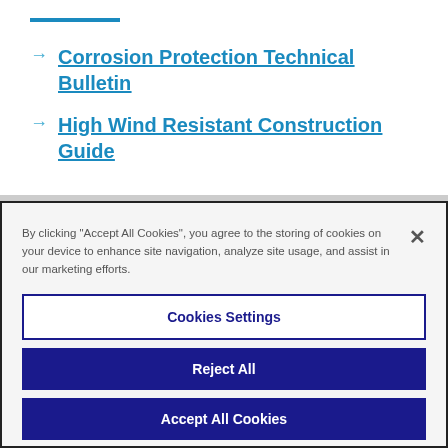→ Corrosion Protection Technical Bulletin
→ High Wind Resistant Construction Guide
By clicking "Accept All Cookies", you agree to the storing of cookies on your device to enhance site navigation, analyze site usage, and assist in our marketing efforts.
Cookies Settings
Reject All
Accept All Cookies